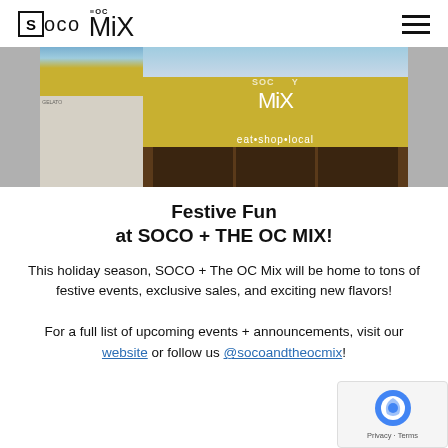SOCO + THE OC MIX logo and navigation
[Figure (photo): Exterior photo of SOCO + OC Mix building with yellow/olive facade, text reads 'eat•shop•local', signs visible for other shops including GELATO]
Festive Fun at SOCO + THE OC MIX!
This holiday season, SOCO + The OC Mix will be home to tons of festive events, exclusive sales, and exciting new flavors!
For a full list of upcoming events + announcements, visit our website or follow us @socoandtheocmix!